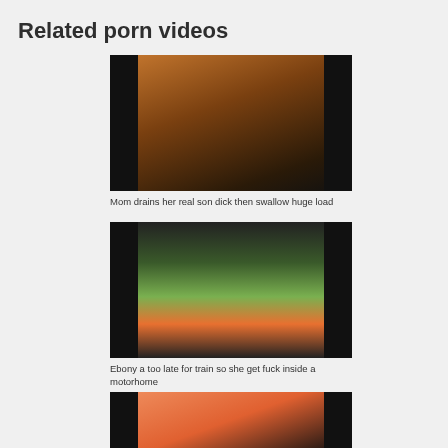Related porn videos
[Figure (photo): Video thumbnail showing a person, dark warm tones]
Mom drains her real son dick then swallow huge load
[Figure (photo): Video thumbnail showing a woman in pink outfit outdoors]
Ebony a too late for train so she get fuck inside a motorhome
[Figure (photo): Video thumbnail partially visible at bottom of page]